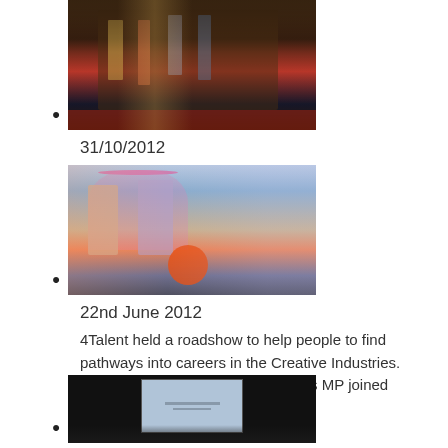31/10/2012
[Figure (photo): Group of people standing in formal venue, some wearing lanyards, red carpet visible]
22nd June 2012
[Figure (photo): Two people outdoors under a pink umbrella, one holding an orange bucket]
4Talent held a roadshow to help people to find pathways into careers in the Creative Industries. Shadow DCMS Minister, Dan Jarvis MP joined them...
15th June 2012
[Figure (photo): Dark auditorium with a presentation screen showing slides, audience silhouetted in foreground]